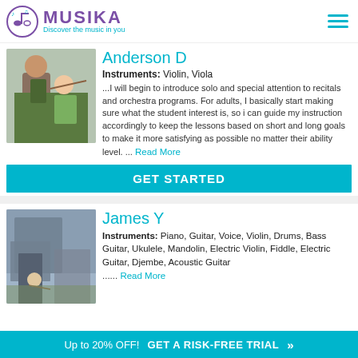MUSIKA — Discover the music in you
Anderson D
Instruments: Violin, Viola
...I will begin to introduce solo and special attention to recitals and orchestra programs. For adults, I basically start making sure what the student interest is, so i can guide my instruction accordingly to keep the lessons based on short and long goals to make it more satisfying as possible no matter their ability level. ... Read More
GET STARTED
James Y
Instruments: Piano, Guitar, Voice, Violin, Drums, Bass Guitar, Ukulele, Mandolin, Electric Violin, Fiddle, Electric Guitar, Djembe, Acoustic Guitar
...... Read More
Up to 20% OFF!  GET A RISK-FREE TRIAL »